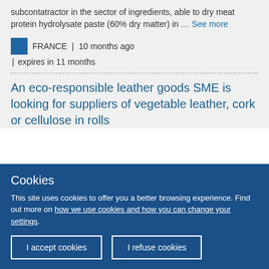subcontatractor in the sector of ingredients, able to dry meat protein hydrolysate paste (60% dry matter) in … See more
FRANCE | 10 months ago | expires in 11 months
An eco-responsible leather goods SME is looking for suppliers of vegetable leather, cork or cellulose in rolls
Cookies
This site uses cookies to offer you a better browsing experience. Find out more on how we use cookies and how you can change your settings.
I accept cookies
I refuse cookies